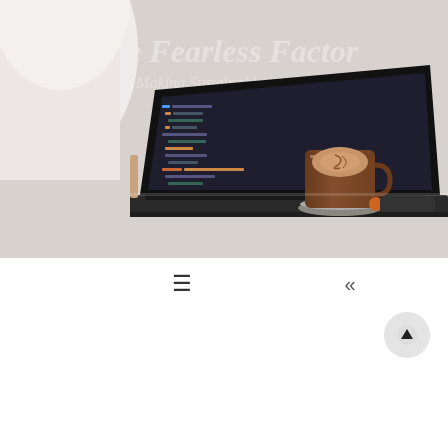[Figure (photo): Hero image showing a laptop with dark code editor open, a latte coffee cup on a saucer, and a minimalist desk setup. Watermark text reads 'The Fearless Factor' and 'Making Sustainable Wealth' in the background.]
☰   «
5 Reasons Why Your Budget Is About More Than Money